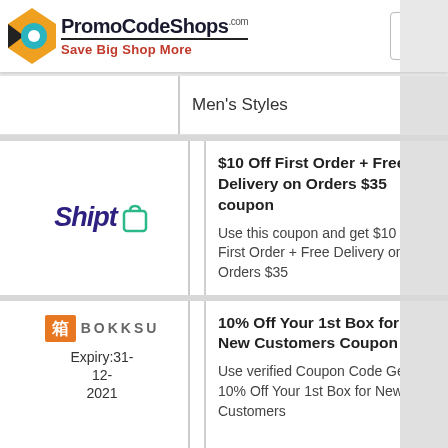PromoCodeShops.com - Save Big Shop More
Men's Styles
[Figure (logo): Shipt logo with teal shopping bag icon]
$10 Off First Order + Free Delivery on Orders $35 coupon
Use this coupon and get $10 Off First Order + Free Delivery on Orders $35
[Figure (logo): Bokksu logo with orange kanji box and stylized text]
Expiry:31-12-2021
10% Off Your 1st Box for New Customers Coupon
Use verified Coupon Code Get 10% Off Your 1st Box for New Customers